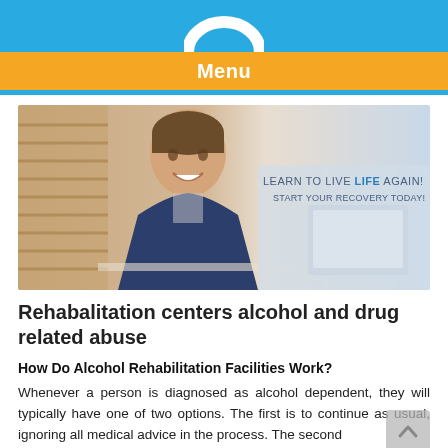Menu
[Figure (photo): A smiling young man in a dark jacket and striped shirt, with text overlay: 'LEARN TO LIVE LIFE AGAIN! START YOUR RECOVERY TODAY!']
Rehabalitation centers alcohol and drug related abuse
How Do Alcohol Rehabilitation Facilities Work?
Whenever a person is diagnosed as alcohol dependent, they will typically have one of two options. The first is to continue as usual, ignoring all medical advice in the process. The second